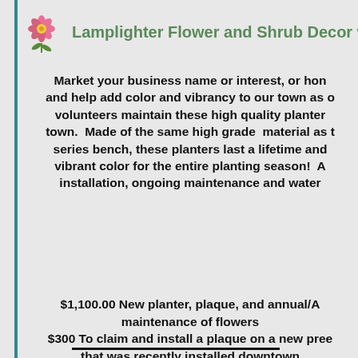Lamplighter Flower and Shrub Decor with
Market your business name or interest, or hon and help add color and vibrancy to our town as o volunteers maintain these high quality planter town. Made of the same high grade material as t series bench, these planters last a lifetime and vibrant color for the entire planting season! A installation, ongoing maintenance and water
$1,100.00 New planter, plaque, and annual/A maintenance of flowers $300 To claim and install a plaque on a new pree that was recently installed downtown